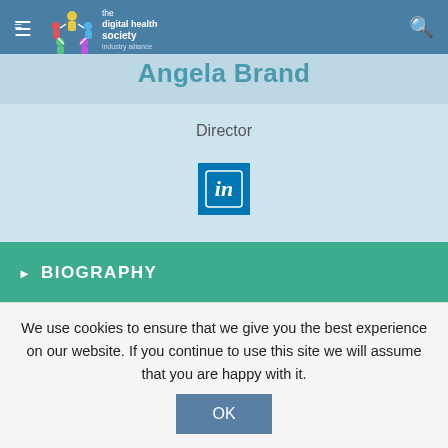the digital health society — Angela Brand
Angela Brand
Director
[Figure (logo): LinkedIn logo button (blue square with 'in' icon)]
BIOGRAPHY
We use cookies to ensure that we give you the best experience on our website. If you continue to use this site we will assume that you are happy with it. OK